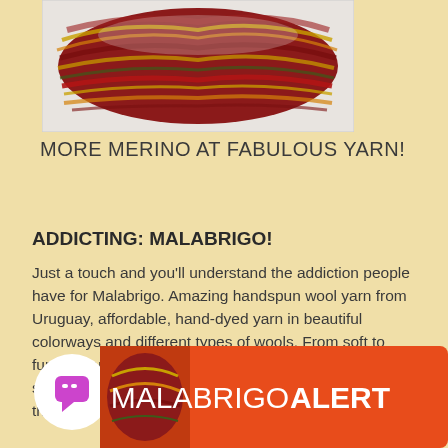[Figure (photo): Skein of multi-colored Malabrigo merino yarn in dark red, orange, yellow, and green colorways on a white background]
MORE MERINO AT FABULOUS YARN!
ADDICTING: MALABRIGO!
Just a touch and you'll understand the addiction people have for Malabrigo. Amazing handspun wool yarn from Uruguay, affordable, hand-dyed yarn in beautiful colorways and different types of wools. From soft to funky, you can make anything out of Malabrigo. Merino soft enough for babies, yet funky and artistic enough for the most creative projects you can think up!
[Figure (infographic): Malabrigo Alert banner in orange-red with white bold text reading MALABRIGO ALERT, with a chat bubble icon and partial yarn image on the left]